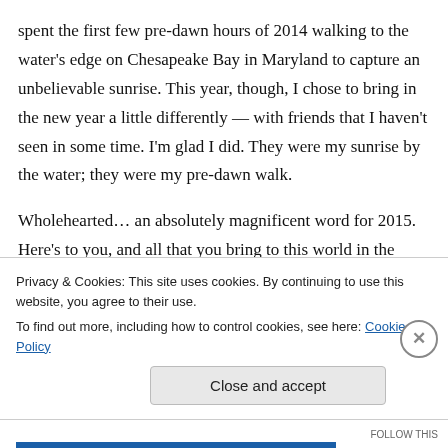spent the first few pre-dawn hours of 2014 walking to the water's edge on Chesapeake Bay in Maryland to capture an unbelievable sunrise. This year, though, I chose to bring in the new year a little differently — with friends that I haven't seen in some time. I'm glad I did. They were my sunrise by the water; they were my pre-dawn walk.

Wholehearted… an absolutely magnificent word for 2015. Here's to you, and all that you bring to this world in the coming year.
Privacy & Cookies: This site uses cookies. By continuing to use this website, you agree to their use.
To find out more, including how to control cookies, see here: Cookie Policy